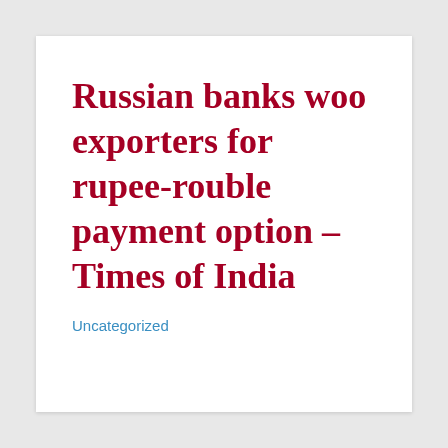Russian banks woo exporters for rupee-rouble payment option – Times of India
Uncategorized